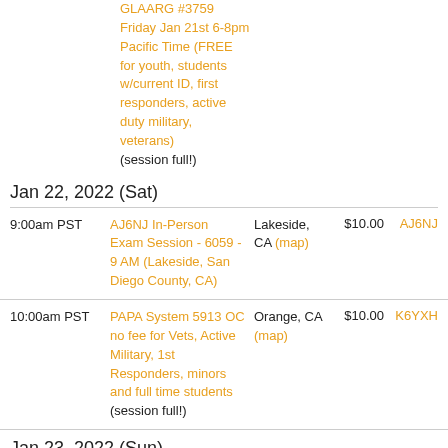GLAARG #3739 Friday Jan 21st 6-8pm Pacific Time (FREE for youth, students w/current ID, first responders, active duty military, veterans) (session full!)
Jan 22, 2022 (Sat)
| Time | Session | Location | Price | Coordinator |
| --- | --- | --- | --- | --- |
| 9:00am PST | AJ6NJ In-Person Exam Session - 6059 - 9 AM (Lakeside, San Diego County, CA) | Lakeside, CA (map) | $10.00 | AJ6NJ |
| 10:00am PST | PAPA System 5913 OC no fee for Vets, Active Military, 1st Responders, minors and full time students (session full!) | Orange, CA (map) | $10.00 | K6YXH |
Jan 23, 2022 (Sun)
| Time | Session | Location | Price | Coordinator |
| --- | --- | --- | --- | --- |
| 2:00pm PST | AE7TD Remote... | (online) | $10.00 | AE7TD |